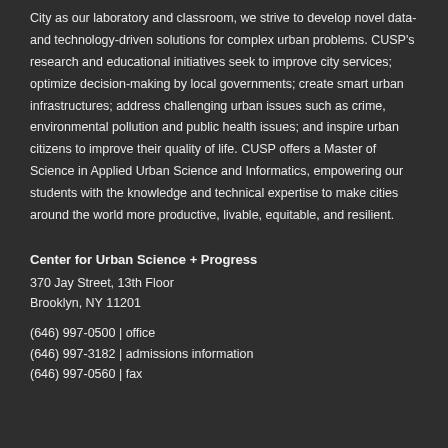City as our laboratory and classroom, we strive to develop novel data- and technology-driven solutions for complex urban problems. CUSP's research and educational initiatives seek to improve city services; optimize decision-making by local governments; create smart urban infrastructures; address challenging urban issues such as crime, environmental pollution and public health issues; and inspire urban citizens to improve their quality of life. CUSP offers a Master of Science in Applied Urban Science and Informatics, empowering our students with the knowledge and technical expertise to make cities around the world more productive, livable, equitable, and resilient.
Center for Urban Science + Progress
370 Jay Street, 13th Floor
Brooklyn, NY 11201

(646) 997-0500 | office
(646) 997-3182 | admissions information
(646) 997-0560 | fax